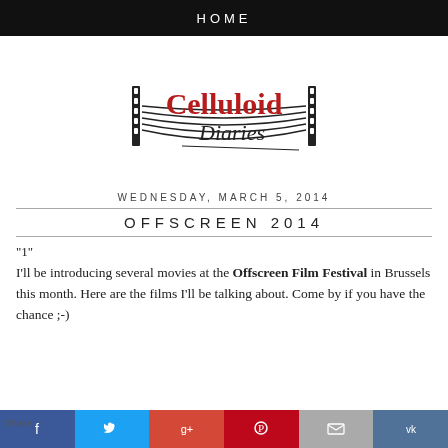HOME
[Figure (logo): Celluloid Diaries logo — stylized film reel with 'Celluloid' in red serif and 'Diaries' in black script]
WEDNESDAY, MARCH 5, 2014
OFFSCREEN 2014
"1"
I'll be introducing several movies at the Offscreen Film Festival in Brussels this month. Here are the films I'll be talking about. Come by if you have the chance ;-)